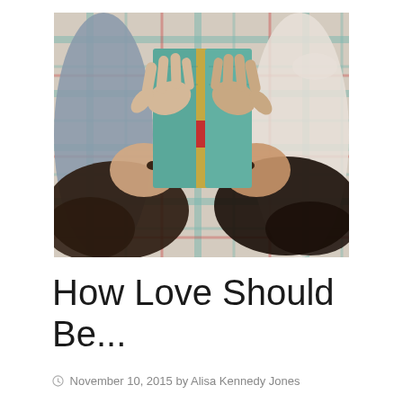[Figure (photo): Two young women lying on a plaid blanket, holding a teal/green hardcover book up between them. Photographed from above. The book has a gold spine with a red accent band. Their dark hair fans out around them.]
How Love Should Be...
November 10, 2015 by Alisa Kennedy Jones